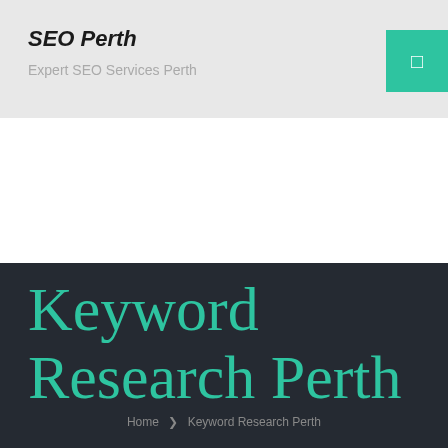SEO Perth
Expert SEO Services Perth
Keyword Research Perth
Home ❯ Keyword Research Perth